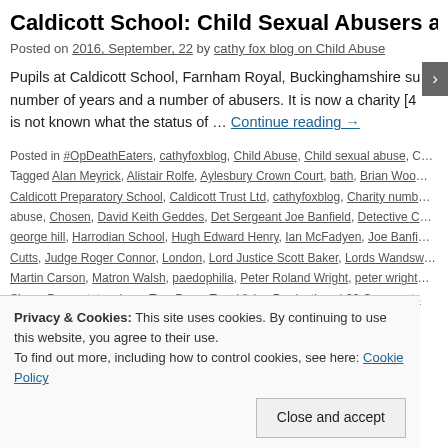Caldicott School: Child Sexual Abusers a…
Posted on 2016, September, 22 by cathy fox blog on Child Abuse
Pupils at Caldicott School, Farnham Royal, Buckinghamshire su… number of years and a number of abusers. It is now a charity [4… is not known what the status of … Continue reading →
Posted in #OpDeathEaters, cathyfoxblog, Child Abuse, Child sexual abuse, C… Tagged Alan Meyrick, Alistair Rolfe, Aylesbury Crown Court, bath, Brian Woo… Caldicott Preparatory School, Caldicott Trust Ltd, cathyfoxblog, Charity numb… abuse, Chosen, David Keith Geddes, Det Sergeant Joe Banfield, Detective C… george hill, Harrodian School, Hugh Edward Henry, Ian McFadyen, Joe Banfi… Cutts, Judge Roger Connor, London, Lord Justice Scott Baker, Lords Wandsw… Martin Carson, Matron Walsh, paedophilia, Peter Roland Wright, peter wright… Simon Doggart, teachers, Tom Perry, True Vision Productions | 22 Comments
Privacy & Cookies: This site uses cookies. By continuing to use this website, you agree to their use.
To find out more, including how to control cookies, see here: Cookie Policy